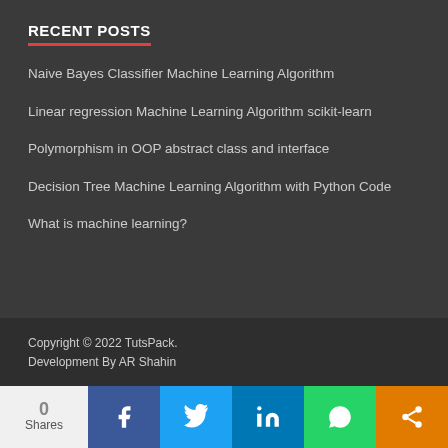RECENT POSTS
Naive Bayes Classifier Machine Learning Algorithm
Linear regression Machine Learning Algorithm scikit-learn
Polymorphism in OOP abstract class and interface
Decision Tree Machine Learning Algorithm with Python Code
What is machine learning?
Copyright © 2022 TutsPack.
Development By AR Shahin
0 Shares